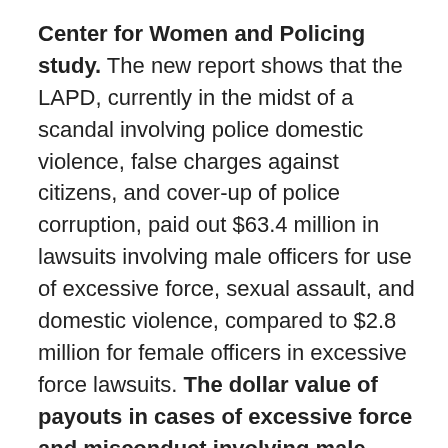Center for Women and Policing study. The new report shows that the LAPD, currently in the midst of a scandal involving police domestic violence, false charges against citizens, and cover-up of police corruption, paid out $63.4 million in lawsuits involving male officers for use of excessive force, sexual assault, and domestic violence, compared to $2.8 million for female officers in excessive force lawsuits. The dollar value of payouts in cases of excessive force and misconduct involving male LAPD officers exceeded that of payouts involving female officers by a ratio of 23:1. And, male officers made up an even higher proportion of miscreants in lawsuit payouts involving killings (43:1) and assault and battery (32:1). Over the same period, male officers serving in a patrol